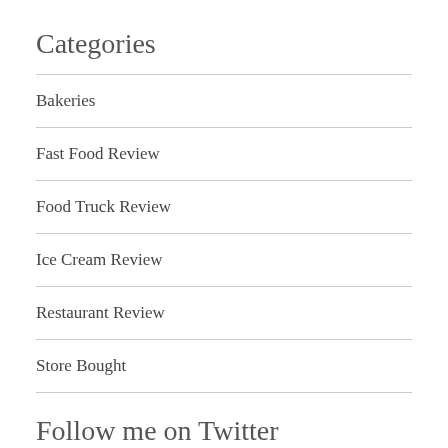Categories
Bakeries
Fast Food Review
Food Truck Review
Ice Cream Review
Restaurant Review
Store Bought
Follow me on Twitter
[Figure (screenshot): Twitter widget showing Tweets from @MichaelKN with a Follow button, and a tweet from Michael Nusair @MichaelKN · Aug 31 saying 'The croissants at Cho-Kwok-Lat are so good']